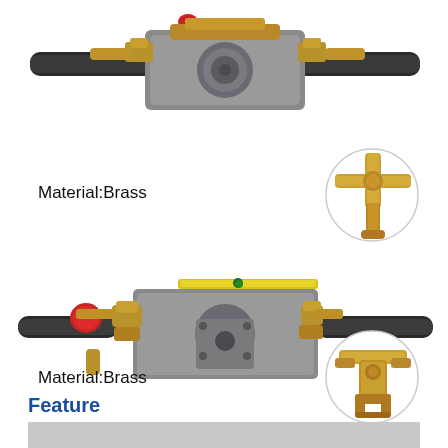[Figure (photo): Top brass valve/pump assembly with hoses and fittings extending to left and right, central grey metal pump body, viewed from front]
[Figure (photo): Circular inset closeup of a brass cross-fitting valve component with yellow/gold brass color]
Material:Brass
[Figure (photo): Middle brass valve/pump assembly with red cap on left end, yellow rod, central metal pump body with circular face plate, brass fittings and hoses]
[Figure (photo): Circular inset closeup of a brass fitting/nozzle component]
Material:Brass
Feature